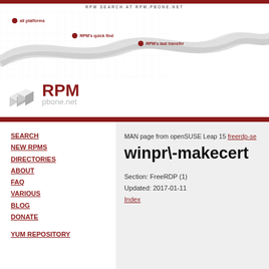RPM SEARCH AT RPM.PBONE.NET
[Figure (logo): RPM pbone.net logo with decorative wavy graphic and navigation dots for 'all platforms', 'RPM's quick find', 'RPM's last transfer']
SEARCH
NEW RPMS
DIRECTORIES
ABOUT
FAQ
VARIOUS
BLOG
DONATE
YUM REPOSITORY
MAN page from openSUSE Leap 15 freerdp-se
winpr\-makecert
Section: FreeRDP (1)
Updated: 2017-01-11
Index